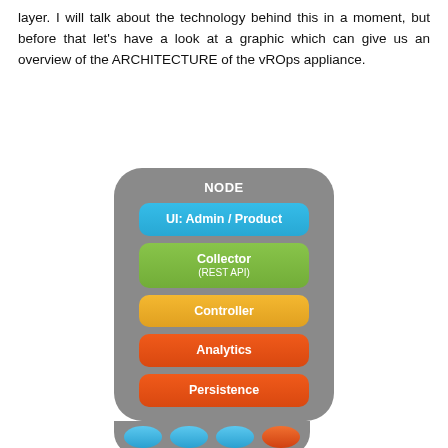layer. I will talk about the technology behind this in a moment, but before that let's have a look at a graphic which can give us an overview of the ARCHITECTURE of the vROps appliance.
[Figure (engineering-diagram): Architecture diagram of a vROps appliance NODE showing stacked layers: UI: Admin / Product (blue), Collector with REST API (green), Controller (yellow-orange), Analytics (red-orange), Persistence (red-orange), with blue and orange circles at the bottom representing connectors.]